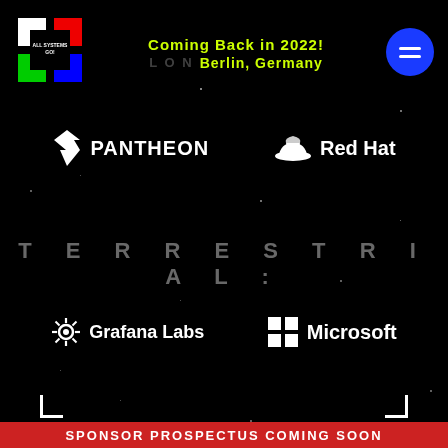[Figure (logo): All Systems Go! conference logo - geometric X shape with red, green, blue, white segments]
Coming Back in 2022!
Berlin, Germany
[Figure (logo): Blue circle menu/hamburger button icon]
[Figure (logo): Pantheon logo - white lightning bolt icon with PANTHEON text]
[Figure (logo): Red Hat logo - white fedora hat icon with Red Hat text]
T E R R E S T R I A L :
[Figure (logo): Grafana Labs logo - white gear/sunburst icon with Grafana Labs text]
[Figure (logo): Microsoft logo - white Windows grid icon with Microsoft text]
SPONSOR PROSPECTUS COMING SOON